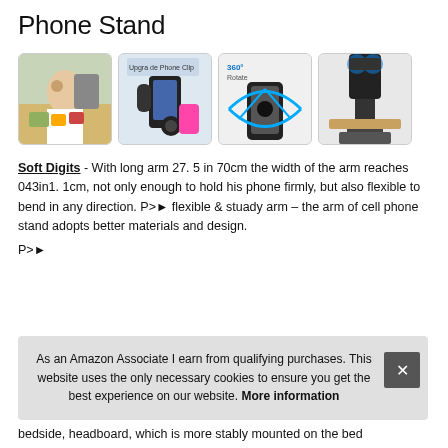Phone Stand
[Figure (photo): Four product images of a phone stand: woman cooking while watching phone on stand, phone clip/stand with suction cup, 360-degree rotating phone mount, and desk clamp phone stand]
Soft Digits - With long arm 27. 5 in 70cm the width of the arm reaches 043in1. 1cm, not only enough to hold his phone firmly, but also flexible to bend in any direction. P>► flexible & stuady arm – the arm of cell phone stand adopts better materials and design.
P>►
As an Amazon Associate I earn from qualifying purchases. This website uses the only necessary cookies to ensure you get the best experience on our website. More information
bedside, headboard, which is more stably mounted on the bed